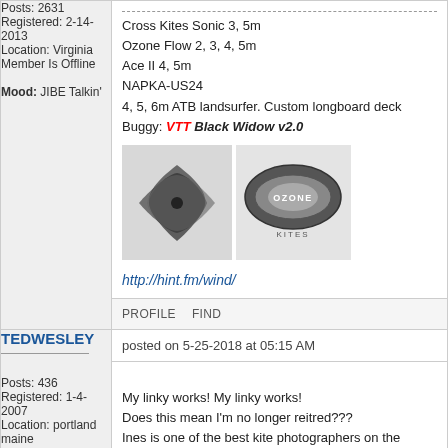Posts: 2631
Registered: 2-14-2013
Location: Virginia
Member Is Offline

Mood: JIBE Talkin'
Cross Kites Sonic 3, 5m
Ozone Flow 2, 3, 4, 5m
Ace II 4, 5m
NAPKA-US24
4, 5, 6m ATB landsurfer. Custom longboard deck
Buggy: VTT Black Widow v2.0
[Figure (logo): Two logos side by side: a stylized spiral kite logo on the left and the Ozone kite brand logo on the right]
http://hint.fm/wind/
PROFILE   FIND
TEDWESLEY
posted on 5-25-2018 at 05:15 AM
Posts: 436
Registered: 1-4-2007
Location: portland maine
My linky works! My linky works!
Does this mean I'm no longer reitred???
Ines is one of the best kite photographers on the planet!